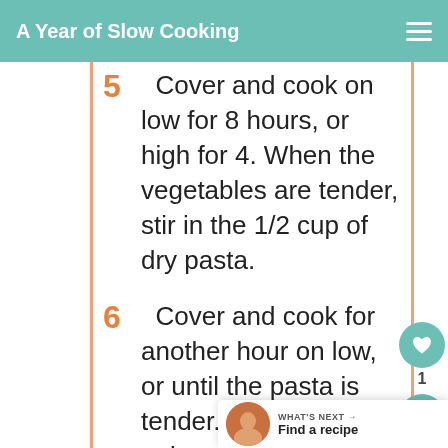A Year of Slow Cooking
5  Cover and cook on low for 8 hours, or high for 4. When the vegetables are tender, stir in the 1/2 cup of dry pasta.
6  Cover and cook for another hour on low, or until the pasta is tender. It will swell quite a bit.
7  Serve with a bit of parmesan cheese if you have it.